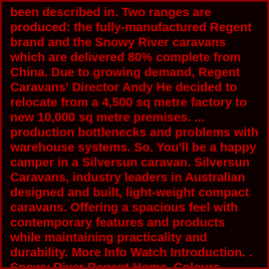been described in. Two ranges are produced: the fully-manufactured Regent brand and the Snowy River caravans which are delivered 80% complete from China. Due to growing demand, Regent Caravans' Director Andy He decided to relocate from a 4,500 sq metre factory to new 10,000 sq metre premises. ... production bottlenecks and problems with warehouse systems. So. You'll be a happy camper in a Silversun caravan. Silversun Caravans, industry leaders in Australian designed and built, light-weight compact caravans. Offering a spacious feel with contemporary features and products while maintaining practicality and durability. More Info Watch Introduction. . Snowy River Regent Home. Colours Gallery What's Included? CONTACT Snowy River Caravans . SRC14. SRC16. SRC17. SRC18. SRC19. ... SRC20F (Two Bunks) SRC21. SRC21S (Slideout) SRC22. SRC22F (2-3 Bunks) SRC22S (Slideout) SRC23. Custom Build. Vanari Caravans. 12 Waiwarawara Drive, Port Marsden Park, Ruakaka 0171 . Hours: Monday: Friday 9am -5pm. Coming to us from China,